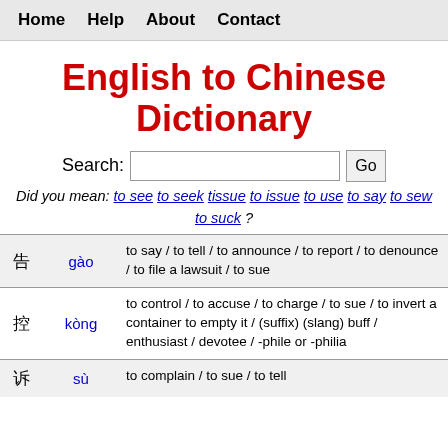Home  Help  About  Contact
English to Chinese Dictionary
Search: [input] Go
Did you mean: to see to seek tissue to issue to use to say to sew to suck ?
| Character | Pinyin | Definition |
| --- | --- | --- |
| □ | gào | to say / to tell / to announce / to report / to denounce / to file a lawsuit / to sue |
| □ | kòng | to control / to accuse / to charge / to sue / to invert a container to empty it / (suffix) (slang) buff / enthusiast / devotee / -phile or -philia |
| □ | sù | to complain / to sue / to tell |